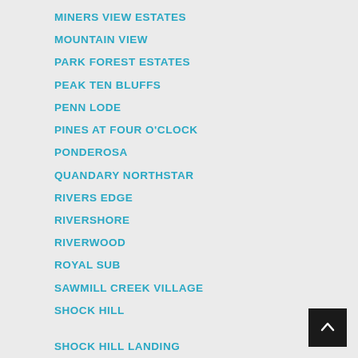MINERS VIEW ESTATES
MOUNTAIN VIEW
PARK FOREST ESTATES
PEAK TEN BLUFFS
PENN LODE
PINES AT FOUR O'CLOCK
PONDEROSA
QUANDARY NORTHSTAR
RIVERS EDGE
RIVERSHORE
RIVERWOOD
ROYAL SUB
SAWMILL CREEK VILLAGE
SHOCK HILL
[Figure (other): Back to top button — dark square with upward chevron arrow]
SHOCK HILL LANDING